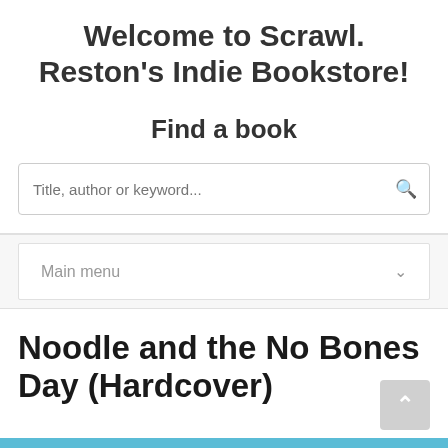Welcome to Scrawl. Reston's Indie Bookstore!
Find a book
Title, author or keyword...
Main menu
Noodle and the No Bones Day (Hardcover)